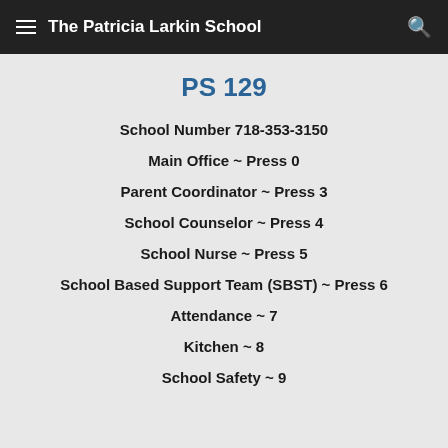The Patricia Larkin School
PS 129
School Number 718-353-3150
Main Office ~ Press 0
Parent Coordinator ~ Press 3
School Counselor ~ Press 4
School Nurse ~ Press 5
School Based Support Team (SBST) ~ Press 6
Attendance ~ 7
Kitchen ~ 8
School Safety ~ 9